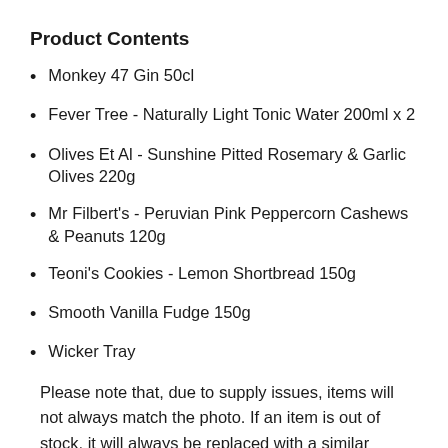Product Contents
Monkey 47 Gin 50cl
Fever Tree - Naturally Light Tonic Water 200ml x 2
Olives Et Al - Sunshine Pitted Rosemary & Garlic Olives 220g
Mr Filbert's - Peruvian Pink Peppercorn Cashews & Peanuts 120g
Teoni's Cookies - Lemon Shortbread 150g
Smooth Vanilla Fudge 150g
Wicker Tray
Please note that, due to supply issues, items will not always match the photo. If an item is out of stock, it will always be replaced with a similar product of equivalent